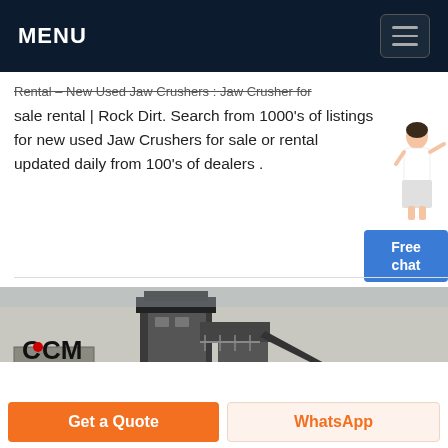MENU
Rental – New Used Jaw Crushers : Jaw Crusher for sale rental | Rock Dirt. Search from 1000's of listings for new used Jaw Crushers for sale or rental updated daily from 100's of dealers .
[Figure (photo): CCM branded jaw crusher machine at a quarry or industrial site, large industrial equipment with conveyor belts and steel frame structure]
Get a Quote
WhatsApp